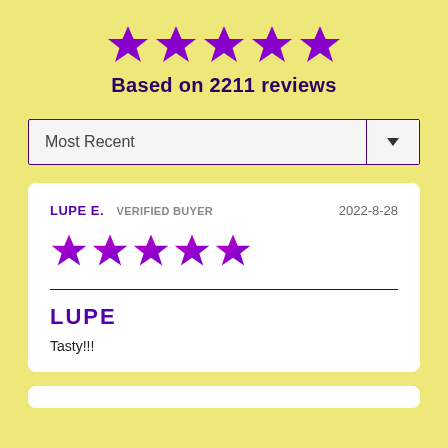[Figure (other): Five purple star rating icons displayed in a row]
Based on 2211 reviews
Most Recent
LUPE E.  VERIFIED BUYER  2022-8-28
[Figure (other): Five purple/magenta gradient star rating icons in a row]
LUPE
Tasty!!!